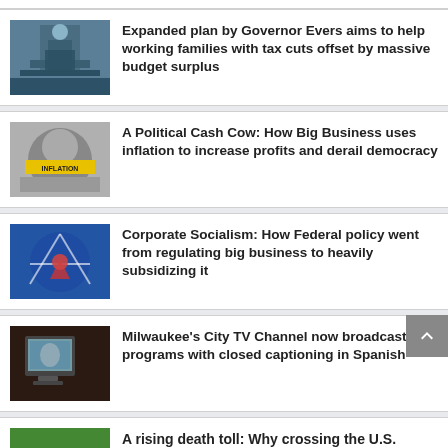Expanded plan by Governor Evers aims to help working families with tax cuts offset by massive budget surplus
A Political Cash Cow: How Big Business uses inflation to increase profits and derail democracy
Corporate Socialism: How Federal policy went from regulating big business to heavily subsidizing it
Milwaukee's City TV Channel now broadcasting programs with closed captioning in Spanish
A rising death toll: Why crossing the U.S. border from Mexico has become more tragic for migrants